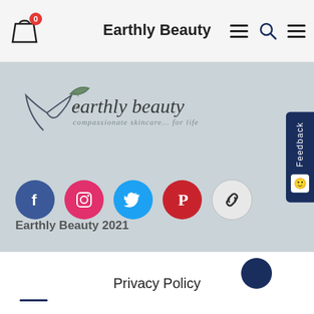Earthly Beauty
[Figure (logo): Earthly beauty logo with bird and leaf, tagline: compassionate skincare... for life]
[Figure (infographic): Social media icons row: Facebook (blue), Instagram (pink/red), Twitter (blue), Pinterest (red), Link (grey)]
Earthly Beauty 2021
Privacy Policy